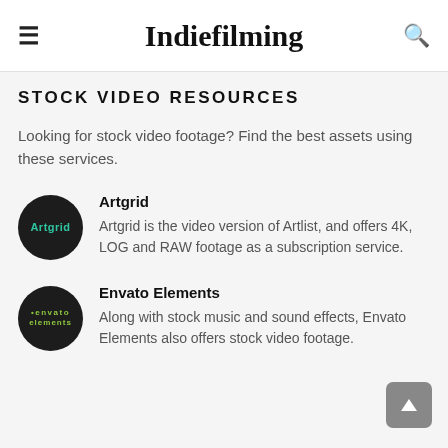Indiefilming
STOCK VIDEO RESOURCES
Looking for stock video footage? Find the best assets using these services.
Artgrid — Artgrid is the video version of Artlist, and offers 4K, LOG and RAW footage as a subscription service.
Envato Elements — Along with stock music and sound effects, Envato Elements also offers stock video footage.